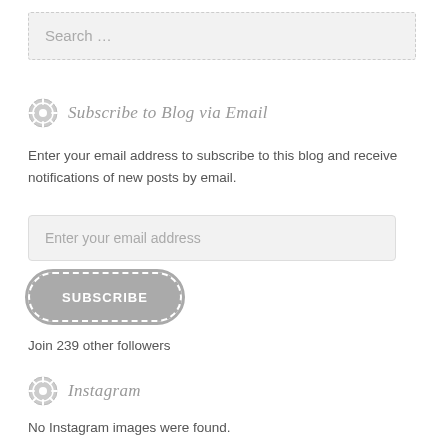Search ...
Subscribe to Blog via Email
Enter your email address to subscribe to this blog and receive notifications of new posts by email.
Enter your email address
SUBSCRIBE
Join 239 other followers
Instagram
No Instagram images were found.